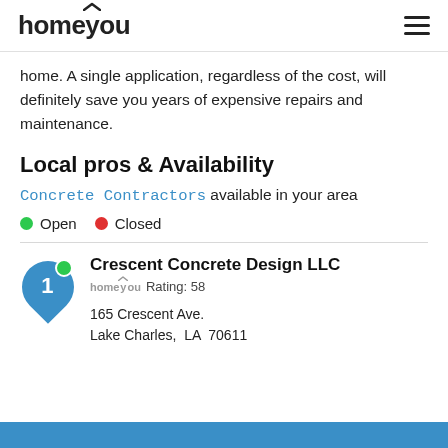homeyou
home. A single application, regardless of the cost, will definitely save you years of expensive repairs and maintenance.
Local pros & Availability
Concrete Contractors available in your area
Open   Closed
Crescent Concrete Design LLC
homeyou Rating: 58
165 Crescent Ave.
Lake Charles, LA 70611